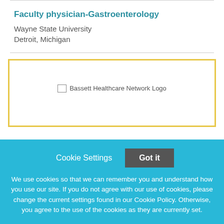Faculty physician-Gastroenterology
Wayne State University
Detroit, Michigan
[Figure (logo): Bassett Healthcare Network Logo (broken image placeholder)]
Cookie Settings  Got it
We use cookies so that we can remember you and understand how you use our site. If you do not agree with our use of cookies, please change the current settings found in our Cookie Policy. Otherwise, you agree to the use of the cookies as they are currently set.